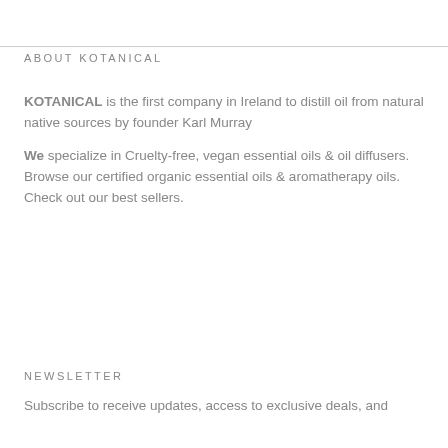ABOUT KOTANICAL
KOTANICAL is the first company in Ireland to distill oil from natural native sources by founder Karl Murray
We specialize in Cruelty-free, vegan essential oils & oil diffusers. Browse our certified organic essential oils & aromatherapy oils. Check out our best sellers.
NEWSLETTER
Subscribe to receive updates, access to exclusive deals, and